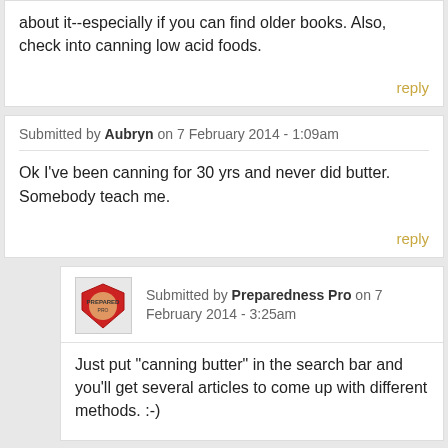about it--especially if you can find older books. Also, check into canning low acid foods.
reply
Submitted by Aubryn on 7 February 2014 - 1:09am
Ok I've been canning for 30 yrs and never did butter. Somebody teach me.
reply
Submitted by Preparedness Pro on 7 February 2014 - 3:25am
Just put "canning butter" in the search bar and you'll get several articles to come up with different methods. :-)